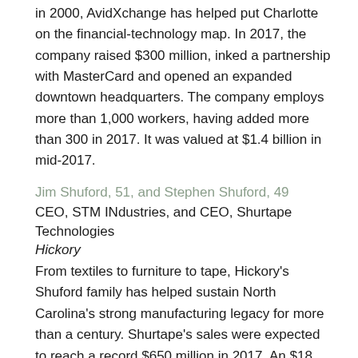in 2000, AvidXchange has helped put Charlotte on the financial-technology map. In 2017, the company raised $300 million, inked a partnership with MasterCard and opened an expanded downtown headquarters. The company employs more than 1,000 workers, having added more than 300 in 2017. It was valued at $1.4 billion in mid-2017.
Jim Shuford, 51, and Stephen Shuford, 49
CEO, STM INdustries, and CEO, Shurtape Technologies
Hickory
From textiles to furniture to tape, Hickory's Shuford family has helped sustain North Carolina's strong manufacturing legacy for more than a century. Shurtape's sales were expected to reach a record $650 million in 2017. An $18 million family gift in 2017 will double the size of UNC Chapel Hill's undergraduate entrepreneurship program.
Scott Smith, 49